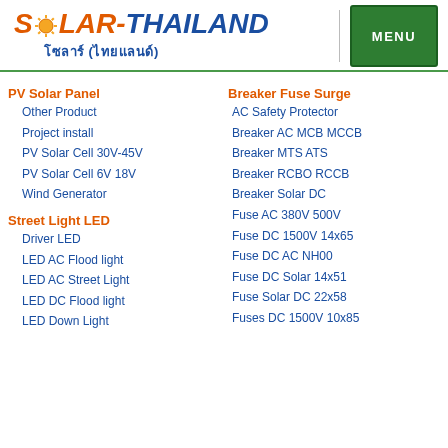[Figure (logo): Solar-Thailand logo with sun icon and Thai text โซลาร์ (ไทยแลนด์)]
[Figure (other): Green MENU button]
PV Solar Panel
Other Product
Project install
PV Solar Cell 30V-45V
PV Solar Cell 6V 18V
Wind Generator
Street Light LED
Driver LED
LED AC Flood light
LED AC Street Light
LED DC Flood light
LED Down Light
Breaker Fuse Surge
AC Safety Protector
Breaker AC MCB MCCB
Breaker MTS ATS
Breaker RCBO RCCB
Breaker Solar DC
Fuse AC 380V 500V
Fuse DC 1500V 14x65
Fuse DC AC NH00
Fuse DC Solar 14x51
Fuse Solar DC 22x58
Fuses DC 1500V 10x85